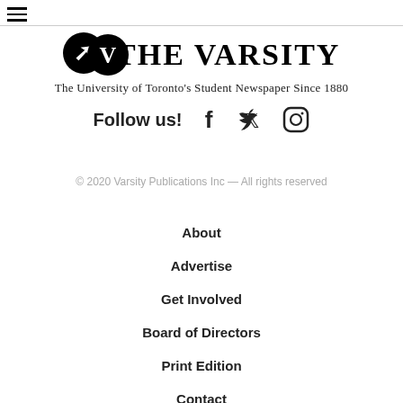[Figure (logo): The Varsity newspaper logo — black circle with V, bold serif text THE VARSITY]
The University of Toronto's Student Newspaper Since 1880
Follow us!
[Figure (illustration): Facebook, Twitter, and Instagram social media icons]
© 2020 Varsity Publications Inc — All rights reserved
About
Advertise
Get Involved
Board of Directors
Print Edition
Contact
Masthead